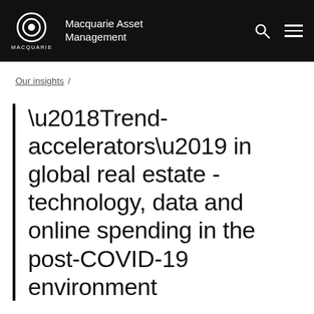Macquarie Asset Management
Our insights /
‘Trend-accelerators’ in global real estate - technology, data and online spending in the post-COVID-19 environment